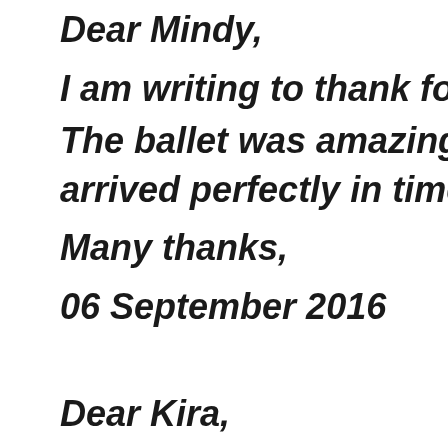Dear Mindy,
I am writing to thank for the ser
The ballet was amazing. The tra arrived perfectly in time. Great!
Many thanks,
06 September 2016        Beatriz,
Dear Kira,
Just to let you know, we were v with your service, and the Balle